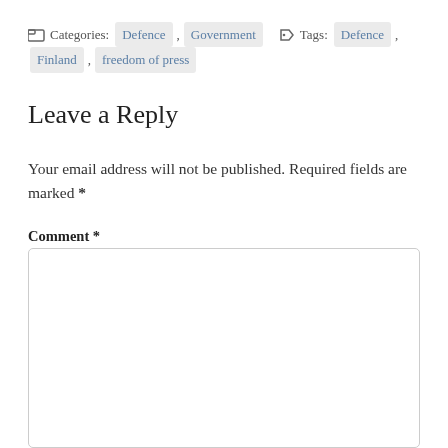Categories: Defence , Government   Tags: Defence , Finland , freedom of press
Leave a Reply
Your email address will not be published. Required fields are marked *
Comment *